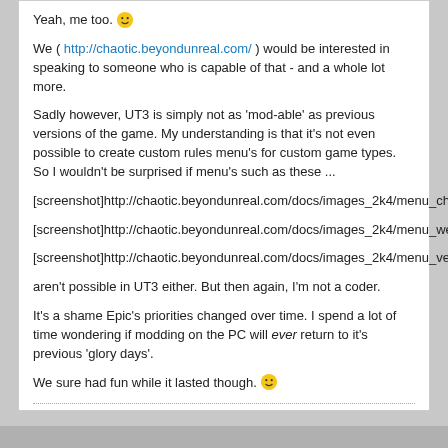Yeah, me too. 😊
We ( http://chaotic.beyondunreal.com/ ) would be interested in speaking to someone who is capable of that - and a whole lot more.
Sadly however, UT3 is simply not as 'mod-able' as previous versions of the game. My understanding is that it's not even possible to create custom rules menu's for custom game types. So I wouldn't be surprised if menu's such as these ...
[screenshot]http://chaotic.beyondunreal.com/docs/images_2k4/menu_chaos.jpg[/screenshot]
[screenshot]http://chaotic.beyondunreal.com/docs/images_2k4/menu_weapons.jpg[/screenshot]
[screenshot]http://chaotic.beyondunreal.com/docs/images_2k4/menu_vehicles.jpg[/screenshot]
aren't possible in UT3 either. But then again, I'm not a coder.
It's a shame Epic's priorities changed over time. I spend a lot of time wondering if modding on the PC will ever return to it's previous 'glory days'.
We sure had fun while it lasted though. 🙂